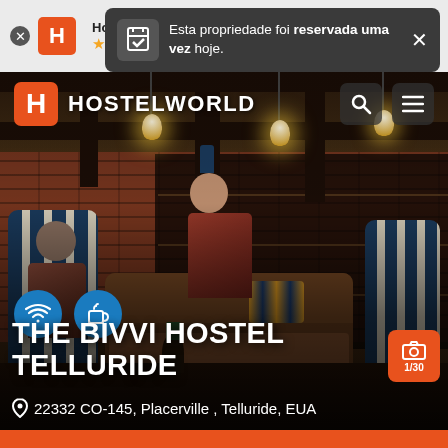[Figure (screenshot): Hostelworld mobile app screenshot showing notification popup and hotel listing page for The Bivvi Hostel Telluride]
Esta propriedade foi reservada uma vez hoje.
THE BIVVI HOSTEL TELLURIDE
22332 CO-145, Placerville , Telluride, EUA